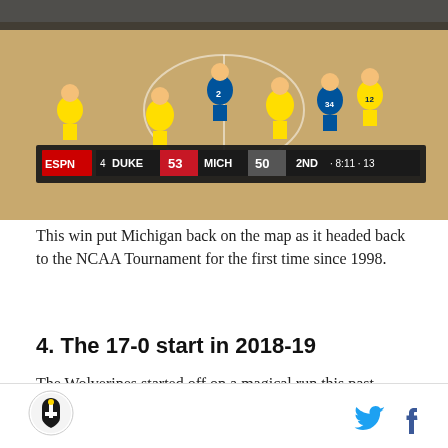[Figure (screenshot): ESPN broadcast screenshot of Duke vs Michigan basketball game. Scoreboard shows: ESPN logo, 4 DUKE 53, MICH 50, 2ND, 8:11, 13. Players visible on court in yellow (Michigan) and blue (Duke) uniforms.]
This win put Michigan back on the map as it headed back to the NCAA Tournament for the first time since 1998.
4. The 17-0 start in 2018-19
The Wolverines started off on a magical run this past season. A team that had lost three starters was expected to be a good team, but went on a run of what could be debated as the best of Beilein's Michigan career.
Logo, Twitter icon, Facebook icon